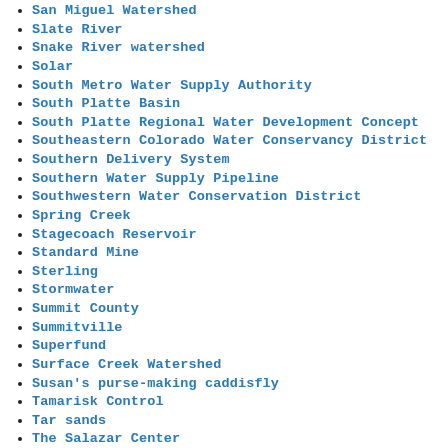San Miguel Watershed
Slate River
Snake River watershed
Solar
South Metro Water Supply Authority
South Platte Basin
South Platte Regional Water Development Concept
Southeastern Colorado Water Conservancy District
Southern Delivery System
Southern Water Supply Pipeline
Southwestern Water Conservation District
Spring Creek
Stagecoach Reservoir
Standard Mine
Sterling
Stormwater
Summit County
Summitville
Superfund
Surface Creek Watershed
Susan's purse-making caddisfly
Tamarisk Control
Tar sands
The Salazar Center
The Water Desk
Transmountain/transbasin diversions